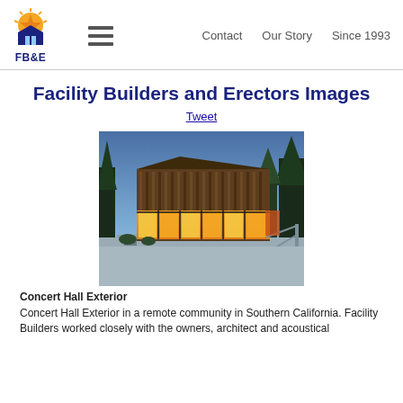FB&E | Contact | Our Story | Since 1993
Facility Builders and Erectors Images
Tweet
[Figure (photo): Concert Hall Exterior building at dusk in a remote community in Southern California. A modern structure with wooden vertical cladding on upper floors and glowing yellow glass facade on lower level, surrounded by pine trees.]
Concert Hall Exterior
Concert Hall Exterior in a remote community in Southern California. Facility Builders worked closely with the owners, architect and acoustical